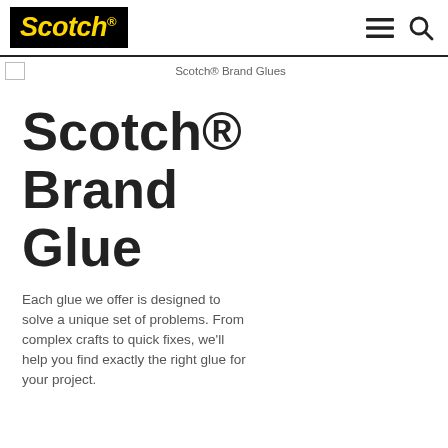[Figure (logo): Scotch brand logo — white italic bold 'Scotch' text with registered trademark symbol on black background]
Scotch® Brand Glues
Scotch® Brand Glue
Each glue we offer is designed to solve a unique set of problems. From complex crafts to quick fixes, we'll help you find exactly the right glue for your project.